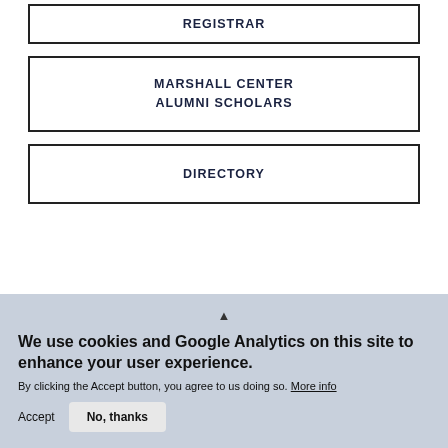REGISTRAR
MARSHALL CENTER
ALUMNI SCHOLARS
DIRECTORY
We use cookies and Google Analytics on this site to enhance your user experience. By clicking the Accept button, you agree to us doing so. More info
Accept | No, thanks